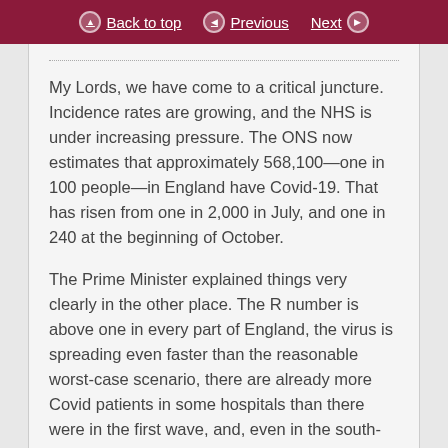Back to top | Previous | Next
My Lords, we have come to a critical juncture. Incidence rates are growing, and the NHS is under increasing pressure. The ONS now estimates that approximately 568,100—one in 100 people—in England have Covid-19. That has risen from one in 2,000 in July, and one in 240 at the beginning of October.
The Prime Minister explained things very clearly in the other place. The R number is above one in every part of England, the virus is spreading even faster than the reasonable worst-case scenario, there are already more Covid patients in some hospitals than there were in the first wave, and, even in the south-west, current projections mean that we will start to